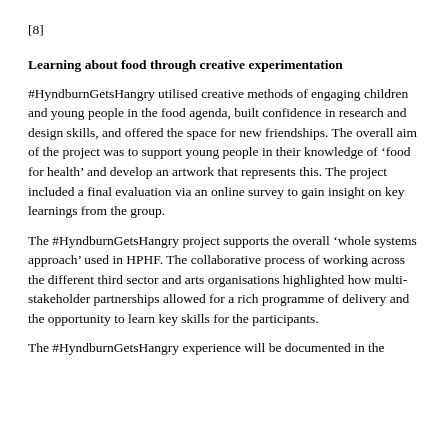[8]
Learning about food through creative experimentation
#HyndburnGetsHangry utilised creative methods of engaging children and young people in the food agenda, built confidence in research and design skills, and offered the space for new friendships. The overall aim of the project was to support young people in their knowledge of ‘food for health’ and develop an artwork that represents this. The project included a final evaluation via an online survey to gain insight on key learnings from the group.
The #HyndburnGetsHangry project supports the overall ‘whole systems approach’ used in HPHF. The collaborative process of working across the different third sector and arts organisations highlighted how multi-stakeholder partnerships allowed for a rich programme of delivery and the opportunity to learn key skills for the participants.
The #HyndburnGetsHangry experience will be documented in the